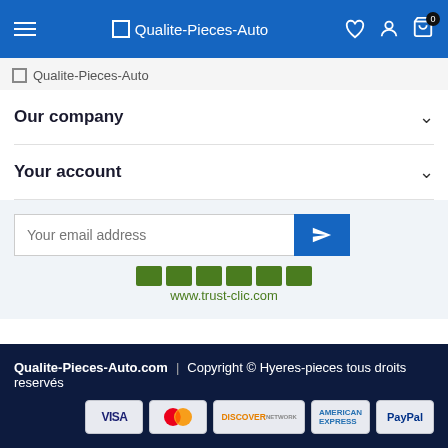Qualite-Pieces-Auto
Qualite-Pieces-Auto
Our company
Your account
Your email address
[Figure (logo): www.trust-clic.com logo with green squares]
Qualite-Pieces-Auto.com | Copyright © Hyeres-pieces tous droits reservés